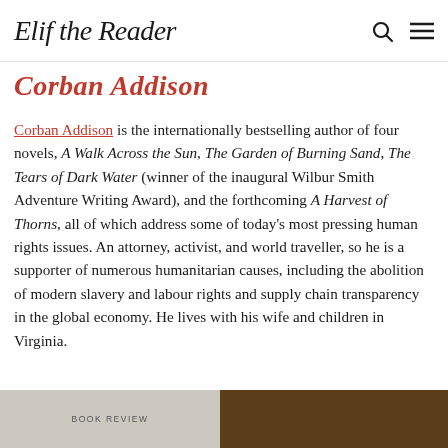Elif the Reader
Corban Addison
Corban Addison is the internationally bestselling author of four novels, A Walk Across the Sun, The Garden of Burning Sand, The Tears of Dark Water (winner of the inaugural Wilbur Smith Adventure Writing Award), and the forthcoming A Harvest of Thorns, all of which address some of today's most pressing human rights issues. An attorney, activist, and world traveller, so he is a supporter of numerous humanitarian causes, including the abolition of modern slavery and labour rights and supply chain transparency in the global economy. He lives with his wife and children in Virginia.
[Figure (photo): Partial book cover image on left side, partially visible, with text BOOK REVIEW]
[Figure (photo): Dark brown book cover image on right side]